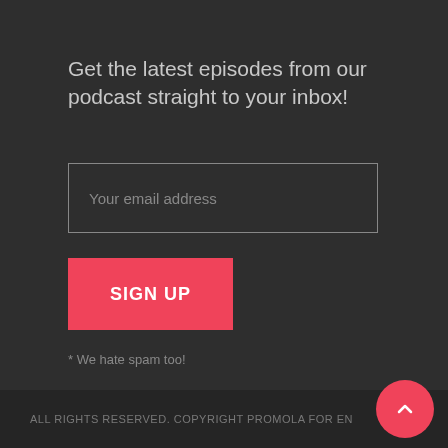Get the latest episodes from our podcast straight to your inbox!
Your email address
SIGN UP
* We hate spam too!
ALL RIGHTS RESERVED. COPYRIGHT PROMOLA FOR EN...